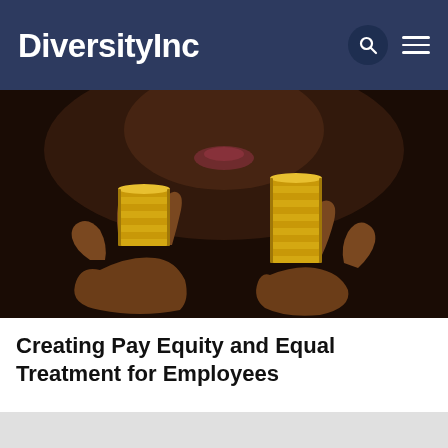DiversityInc
[Figure (photo): Two hands holding two stacks of gold coins of different heights against a dark background, illustrating pay inequality.]
Creating Pay Equity and Equal Treatment for Employees